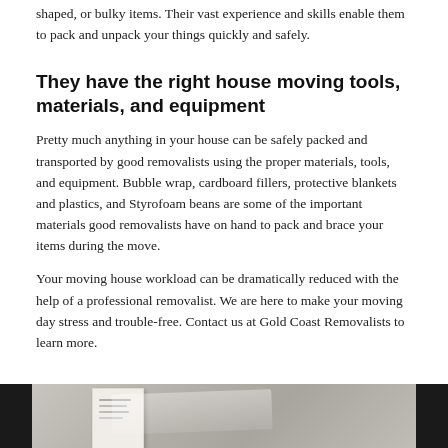shaped, or bulky items. Their vast experience and skills enable them to pack and unpack your things quickly and safely.
They have the right house moving tools, materials, and equipment
Pretty much anything in your house can be safely packed and transported by good removalists using the proper materials, tools, and equipment. Bubble wrap, cardboard fillers, protective blankets and plastics, and Styrofoam beans are some of the important materials good removalists have on hand to pack and brace your items during the move.
Your moving house workload can be dramatically reduced with the help of a professional removalist. We are here to make your moving day stress and trouble-free. Contact us at Gold Coast Removalists to learn more.
[Figure (photo): Partially visible photograph at the bottom of the page showing what appears to be a document or paper, with dark bars on left and right edges.]